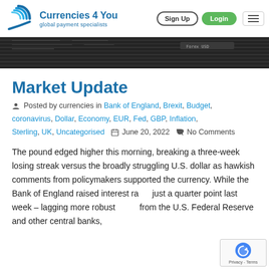Currencies 4 You — global payment specialists | Sign Up | Login
[Figure (photo): Dark background hero image showing financial data screens]
Market Update
Posted by currencies in Bank of England, Brexit, Budget, coronavirus, Dollar, Economy, EUR, Fed, GBP, Inflation, Sterling, UK, Uncategorised  June 20, 2022  No Comments
The pound edged higher this morning, breaking a three-week losing streak versus the broadly struggling U.S. dollar as hawkish comments from policymakers supported the currency. While the Bank of England raised interest rates just a quarter point last week – lagging more robust hikes from the U.S. Federal Reserve and other central banks,